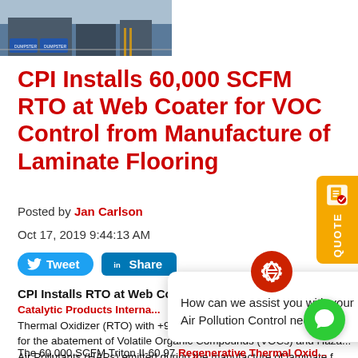[Figure (photo): Exterior photo of industrial building/facility with blue containers or equipment visible]
CPI Installs 60,000 SCFM RTO at Web Coater for VOC Control from Manufacture of Laminate Flooring
Posted by Jan Carlson
Oct 17, 2019 9:44:13 AM
[Figure (other): Tweet and Share social media buttons]
CPI Installs RTO at Web Coat...
Catalytic Products Interna... Thermal Oxidizer (RTO) with +9... for the abatement of Volatile Organic Compounds (VOCs) and Haza... Air Pollutants (HAPs) emitted during the manufacture of laminate f...
The 60,000 SCFM Triton II-60.97 Regenerative Thermal Oxid... will control VOC and HAP emissions from three (3) web coating lin... and associated ovens at the facility. Although the exhaust streams contain...
[Figure (other): Orange QUOTE tab button on right side of page]
[Figure (other): Chat popup with red recycling/chat logo and text: How can we assist you with your Air Pollution Control needs?]
[Figure (other): Green chat FAB button bottom right]